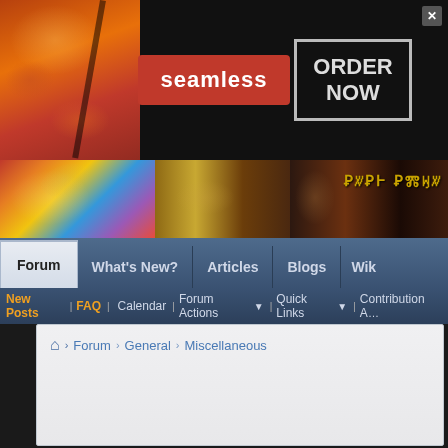[Figure (screenshot): Advertisement banner for Seamless food ordering service. Left side shows pizza image, center has red 'seamless' badge, right has 'ORDER NOW' button in bordered box. Close (X) button top right.]
[Figure (illustration): Decorative medieval/Byzantine art strip showing colorful patterns and figures with text characters on dark background.]
Forum | What's New? | Articles | Blogs | Wiki
New Posts | FAQ | Calendar | Forum Actions | Quick Links | Contribution A...
Forum › General › Miscellaneous